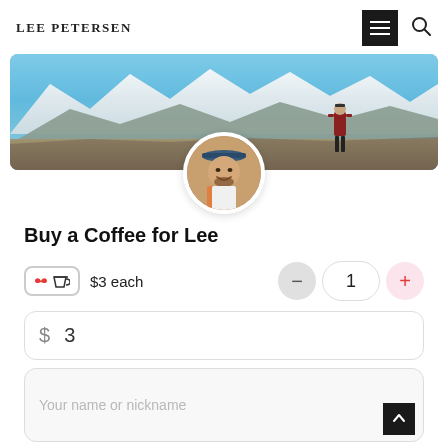LEE PETERSEN
[Figure (photo): Banner photo of snowy mountain landscape with two hikers, and a circular profile photo of a smiling man with a backpack overlaid at the bottom center.]
Buy a Coffee for Lee
$3 each | - | 1 | +
$ 3
Your name or nickname